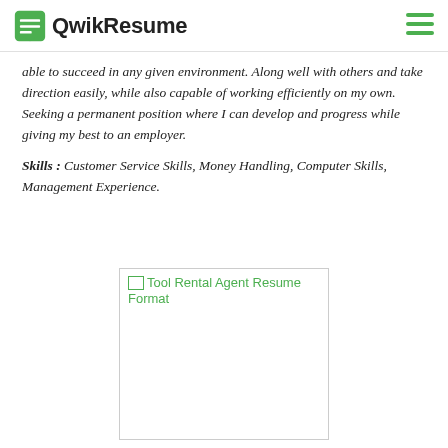QwikResume
able to succeed in any given environment. Along well with others and take direction easily, while also capable of working efficiently on my own. Seeking a permanent position where I can develop and progress while giving my best to an employer.
Skills : Customer Service Skills, Money Handling, Computer Skills, Management Experience.
[Figure (other): Broken image placeholder showing 'Tool Rental Agent Resume Format' as a hyperlink with a broken image icon, displayed inside a bordered rectangle]